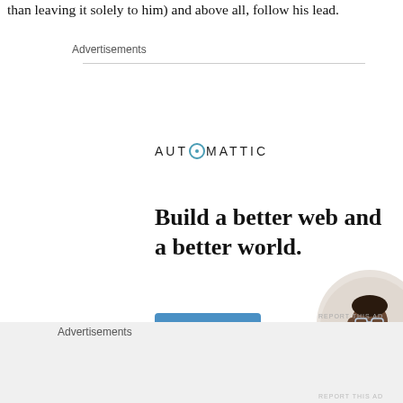than leaving it solely to him) and above all, follow his lead.
Advertisements
[Figure (illustration): Automattic advertisement. Logo at top reads AUTOMATTIC with a circled dot on the second T. Large bold headline: 'Build a better web and a better world.' Blue Apply button. Circular photo of a Black man with glasses sitting at a desk, looking upward thoughtfully.]
REPORT THIS AD
We usually bake when it's closer to lunch. Baking simple
Advertisements
REPORT THIS AD